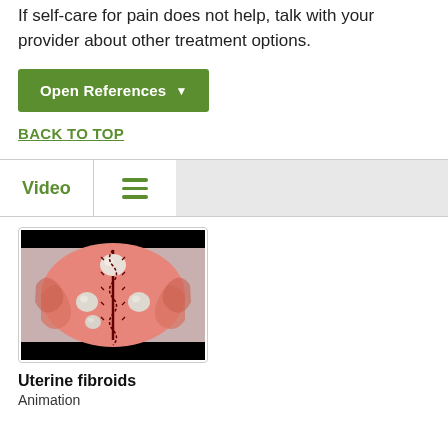If self-care for pain does not help, talk with your provider about other treatment options.
[Figure (other): Green button labeled 'Open References' with dropdown arrow]
BACK TO TOP
[Figure (other): Navigation bar with 'Video' tab, vertical divider, green hamburger menu icon, and gray area on right]
[Figure (illustration): Video thumbnail showing a medical animation of uterine fibroids - a cross-section illustration of a uterus with fibroid growths, on black background]
Uterine fibroids
Animation